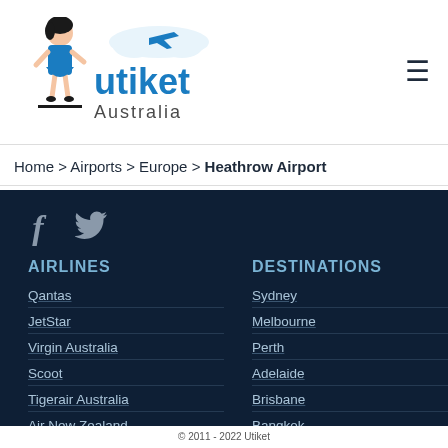[Figure (logo): Utiket Australia logo with mascot girl and airplane icon, with text 'utiket Australia']
Home > Airports > Europe > Heathrow Airport
[Figure (illustration): Social media icons: Facebook (f) and Twitter bird icon on dark navy background]
AIRLINES
DESTINATIONS
Qantas
Sydney
JetStar
Melbourne
Virgin Australia
Perth
Scoot
Adelaide
Tigerair Australia
Brisbane
Air New Zealand
Bangkok
© 2011 - 2022 Utiket